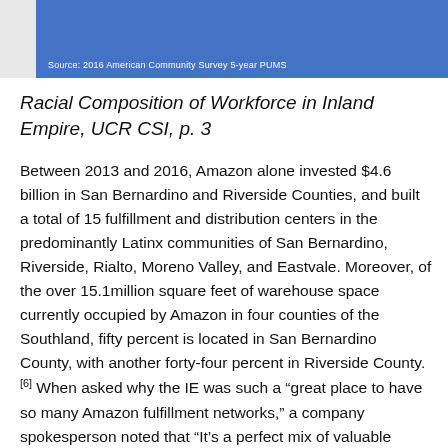Source: 2016 American Community Survey 5-year PUMS
Racial Composition of Workforce in Inland Empire, UCR CSI, p. 3
Between 2013 and 2016, Amazon alone invested $4.6 billion in San Bernardino and Riverside Counties, and built a total of 15 fulfillment and distribution centers in the predominantly Latinx communities of San Bernardino, Riverside, Rialto, Moreno Valley, and Eastvale. Moreover, of the over 15.1million square feet of warehouse space currently occupied by Amazon in four counties of the Southland, fifty percent is located in San Bernardino County, with another forty-four percent in Riverside County.[6] When asked why the IE was such a “great place to have so many Amazon fulfillment networks,” a company spokesperson noted that “It’s a perfect mix of valuable things — an exceptional workforce, thoughtful partners, great locations and strong